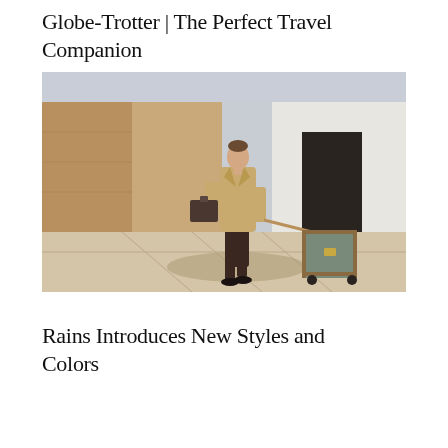Globe-Trotter | The Perfect Travel Companion
[Figure (photo): A man in a beige trench coat walks on a light-colored paved outdoor area, pulling a rolling Globe-Trotter suitcase with a gold handle and carrying a dark flat briefcase/document case in his other hand. The background shows a tan wall and a modern white building facade.]
Rains Introduces New Styles and Colors